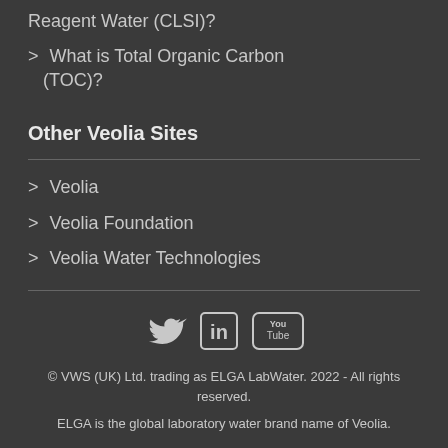Reagent Water (CLSI)?
> What is Total Organic Carbon (TOC)?
Other Veolia Sites
> Veolia
> Veolia Foundation
> Veolia Water Technologies
[Figure (other): Social media icons: Twitter bird, LinkedIn 'in', YouTube logo]
© VWS (UK) Ltd. trading as ELGA LabWater. 2022 - All rights reserved.
ELGA is the global laboratory water brand name of Veolia.